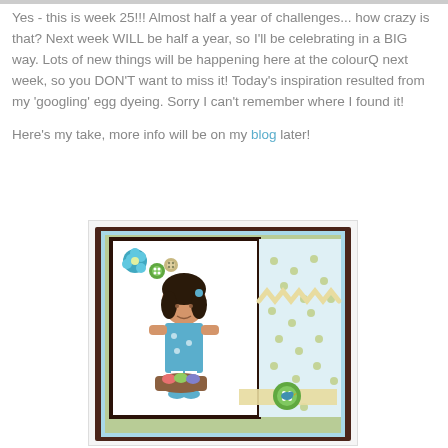Yes - this is week 25!!! Almost half a year of challenges... how crazy is that? Next week WILL be half a year, so I'll be celebrating in a BIG way. Lots of new things will be happening here at the colourQ next week, so you DON'T want to miss it! Today's inspiration resulted from my 'googling' egg dyeing. Sorry I can't remember where I found it!
Here's my take, more info will be on my blog later!
[Figure (photo): A handmade greeting card featuring a cartoon girl in a blue dress holding an Easter basket with colored eggs, decorated with green and teal flowers, buttons, polka dot patterned paper, ric-rac trim, and ribbon on a brown mat with blue and green layers.]